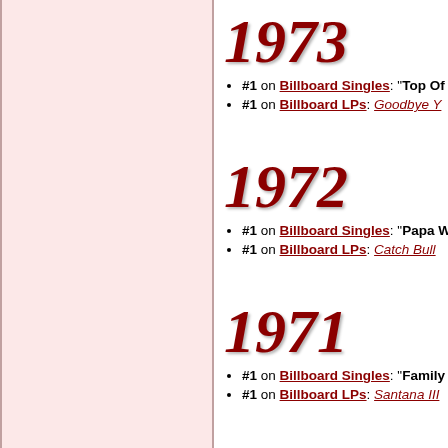1973
#1 on Billboard Singles: "Top Of..."
#1 on Billboard LPs: Goodbye Y...
1972
#1 on Billboard Singles: "Papa W..."
#1 on Billboard LPs: Catch Bull...
1971
#1 on Billboard Singles: "Family..."
#1 on Billboard LPs: Santana III...